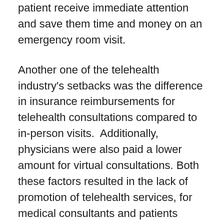patient receive immediate attention and save them time and money on an emergency room visit.
Another one of the telehealth industry's setbacks was the difference in insurance reimbursements for telehealth consultations compared to in-person visits.  Additionally, physicians were also paid a lower amount for virtual consultations. Both these factors resulted in the lack of promotion of telehealth services, for medical consultants and patients alike. Now, as reported by Forbes, more insurance companies have started expanding coverage to include telehealth appointments. Similarly, physicians are also being compensated at almost the same amount as an in-person visit. These factors make telehealth a cost-effective